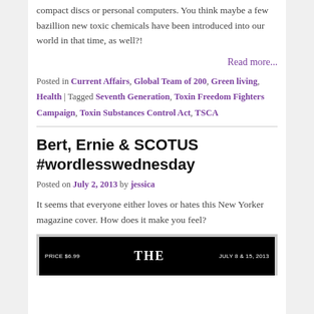compact discs or personal computers. You think maybe a few bazillion new toxic chemicals have been introduced into our world in that time, as well?!
Read more...
Posted in Current Affairs, Global Team of 200, Green living, Health | Tagged Seventh Generation, Toxin Freedom Fighters Campaign, Toxin Substances Control Act, TSCA
Bert, Ernie & SCOTUS #wordlesswednesday
Posted on July 2, 2013 by jessica
It seems that everyone either loves or hates this New Yorker magazine cover. How does it make you feel?
[Figure (photo): Black banner showing New Yorker magazine cover header with PRICE $6.99, THE, and JULY 8 & 15, 2013]